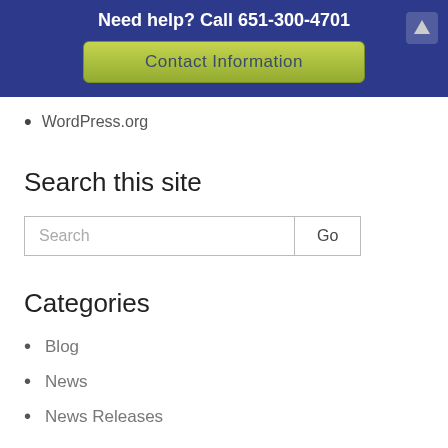Need help? Call 651-300-4701
Contact Information
WordPress.org
Search this site
Search [input] Go [button]
Categories
Blog
News
News Releases